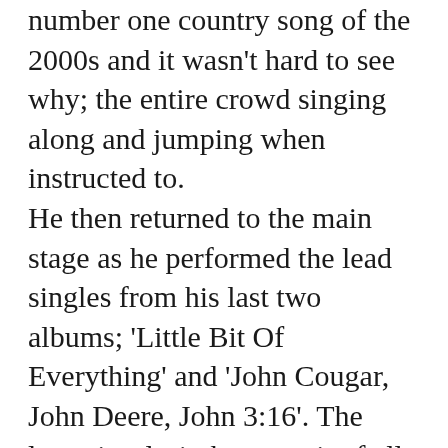number one country song of the 2000s and it wasn't hard to see why; the entire crowd singing along and jumping when instructed to. He then returned to the main stage as he performed the lead singles from his last two albums; 'Little Bit Of Everything' and 'John Cougar, John Deere, John 3:16'. The latter is a lyric-heavy spit of all of life's inspirations which then hilariously morphed into a cover of the classic 'Jack & Diane' by John Cougar Mellencamp. Everyone sang along as he then transitioned into Bob Marley's 'No Woman No Cry' with the Jamacian colours of red yellow and green filling out the theatre. Keith then played the final song of the core set; his latest Australian single fondly reminiscing how the best days of our life are all that 'Wasted Time'. As he returned, he confessed that he calls